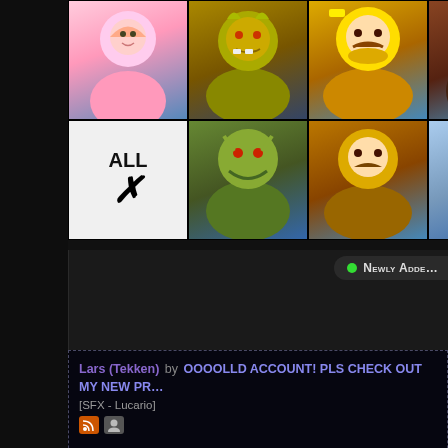[Figure (screenshot): Character selection grid showing game characters including Peach, Bowser, Wario, Donkey Kong, Zelda, Sheik, Falco and others, arranged in two rows with an ALL button]
● Newly Adde…
Lars (Tekken) by OOOOLLD ACCOUNT! PLS CHECK OUT MY NEW PR… [SFX - Lucario]
Preview (Source: Street Fighter X Tekken)
Dry Bones SFX (again) by Mortimer [SFX - Lucario]